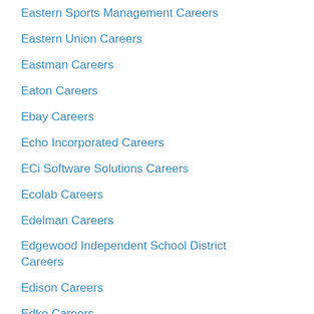Eastern Sports Management Careers
Eastern Union Careers
Eastman Careers
Eaton Careers
Ebay Careers
Echo Incorporated Careers
ECi Software Solutions Careers
Ecolab Careers
Edelman Careers
Edgewood Independent School District Careers
Edison Careers
Edko Careers
EE Education First Careers